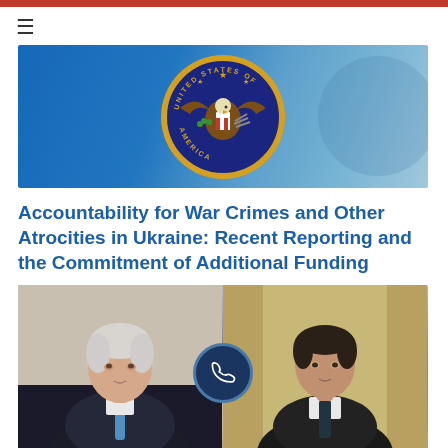[Figure (illustration): Red horizontal bar at top of page]
[Figure (logo): US Department of State seal on blue banner background]
Accountability for War Crimes and Other Atrocities in Ukraine: Recent Reporting and the Commitment of Additional Funding
[Figure (photo): Side-by-side photos of President Biden (left) and President Zelensky (right) with a phone call icon in the center]